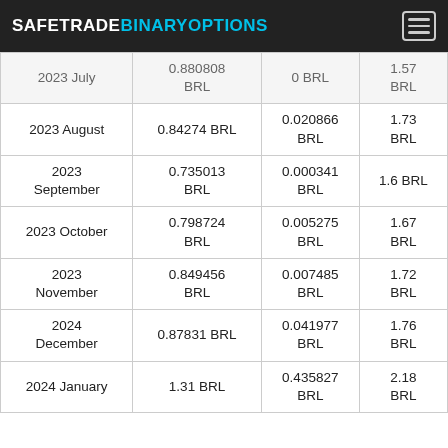SAFETRADEBINARYOPTIONS
| 2023 July | 0.880808 BRL | 0 BRL | 1.57 BRL |
| 2023 August | 0.84274 BRL | 0.020866 BRL | 1.73 BRL |
| 2023 September | 0.735013 BRL | 0.000341 BRL | 1.6 BRL |
| 2023 October | 0.798724 BRL | 0.005275 BRL | 1.67 BRL |
| 2023 November | 0.849456 BRL | 0.007485 BRL | 1.72 BRL |
| 2024 December | 0.87831 BRL | 0.041977 BRL | 1.76 BRL |
| 2024 January | 1.31 BRL | 0.435827 BRL | 2.18 BRL |